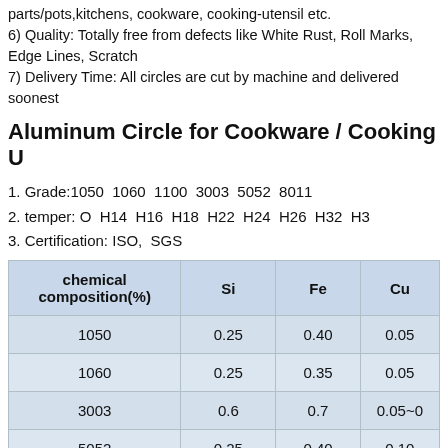parts/pots,kitchens, cookware, cooking-utensil etc.
6) Quality: Totally free from defects like White Rust, Roll Marks, Edge Lines, Scratch
7) Delivery Time: All circles are cut by machine and delivered soonest
Aluminum Circle for Cookware / Cooking U...
1. Grade:1050  1060  1100  3003  5052  8011
2. temper: O  H14  H16  H18  H22  H24  H26  H32  H3...
3. Certification: ISO,  SGS
| chemical composition(%) | Si | Fe | Cu |
| --- | --- | --- | --- |
| 1050 | 0.25 | 0.40 | 0.05 |
| 1060 | 0.25 | 0.35 | 0.05 |
| 3003 | 0.6 | 0.7 | 0.05~0... |
| 5052 | 0.25 | 0.40 | 0.10 |
| 8011 | 0.50~0.9 | 0.6~1.0 | 0.10 |